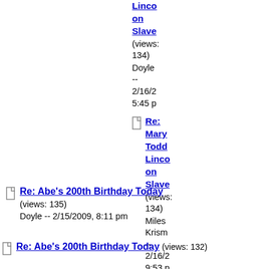Re: Mary Todd Lincoln on Slavery (views: 134) Doyle -- 2/16/2009, 5:45 pm
Re: Mary Todd Lincoln on Slavery (views: 134) Miles Krism -- 2/16/2009, 9:53 pm
Re: Abe's 200th Birthday Today (views: 135) Doyle -- 2/15/2009, 8:11 pm
Re: Abe's 200th Birthday Today (views: 132)